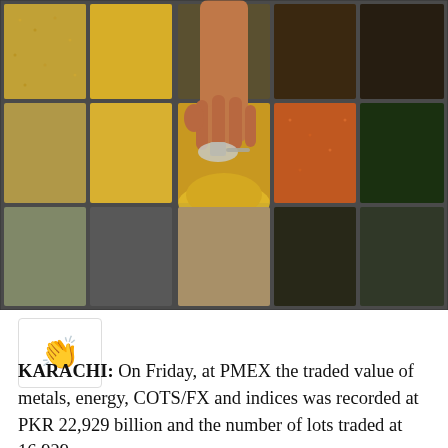[Figure (photo): Overhead view of a market stall with multiple compartments containing different colored grains, lentils, and spices. A person's hand reaches down holding a small metal scoop into one of the central grain compartments.]
[Figure (illustration): Small icon/emoji of a clapping hands gesture inside a bordered box]
KARACHI: On Friday, at PMEX the traded value of metals, energy, COTS/FX and indices was recorded at PKR 22,929 billion and the number of lots traded at 16,929.